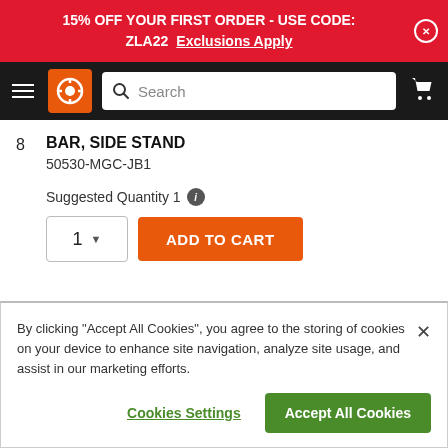15% OFF YOUR FIRST ORDER - USE CODE: ZLA22  Exclusions Apply
[Figure (screenshot): Navigation bar with hamburger menu, orange logo icon, search bar, and cart icon on black background]
8  BAR, SIDE STAND
50530-MGC-JB1
Suggested Quantity 1
1  ADD TO CART
By clicking "Accept All Cookies", you agree to the storing of cookies on your device to enhance site navigation, analyze site usage, and assist in our marketing efforts.
Cookies Settings    Accept All Cookies